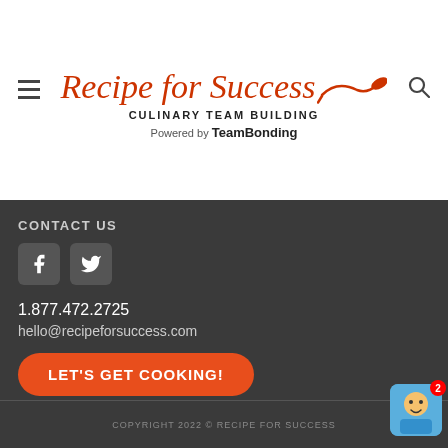[Figure (logo): Recipe for Success Culinary Team Building logo with frying pan illustration, Powered by TeamBonding]
CONTACT US
[Figure (illustration): Facebook and Twitter social media icons]
1.877.472.2725
hello@recipeforsuccess.com
LET'S GET COOKING!
COPYRIGHT 2022 © RECIPE FOR SUCCESS